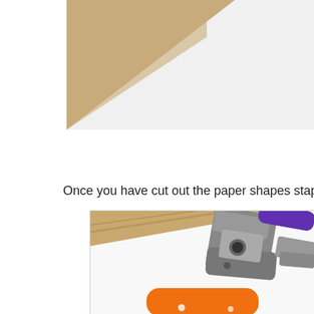[Figure (photo): Top portion of a previous image, light gray/white background, partially visible content]
Once you have cut out the paper shapes staple them on
[Figure (photo): A hole punch tool with purple handles resting on white paper, with an orange paper shape visible at the bottom, placed on a wooden surface]